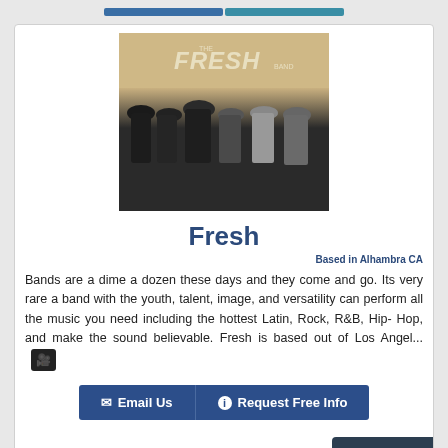[Figure (photo): Group photo of The Fresh Band — six members posed together in formal/semi-formal attire against a tan/gold background with 'THE FRESH BAND' logo text at top]
Fresh
Based in Alhambra CA
Bands are a dime a dozen these days and they come and go. Its very rare a band with the youth, talent, image, and versatility can perform all the music you need including the hottest Latin, Rock, R&B, Hip- Hop, and make the sound believable. Fresh is based out of Los Angel...
Email Us
Request Free Info
Message